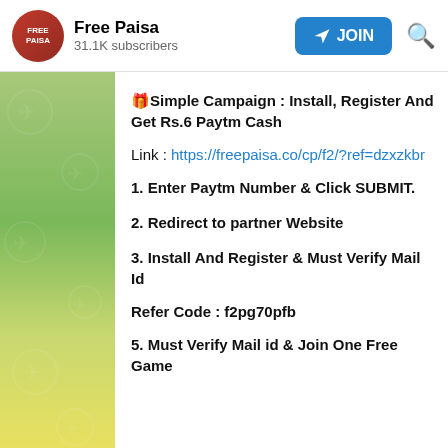Free Paisa — 31.1K subscribers — JOIN
🎁Simple Campaign : Install, Register And Get Rs.6 Paytm Cash
Link : https://freepaisa.co/cp/f2/?ref=dzxzkbr
1. Enter Paytm Number & Click SUBMIT.
2. Redirect to partner Website
3. Install And Register & Must Verify Mail Id
Refer Code : f2pg70pfb
5. Must Verify Mail id & Join One Free Game